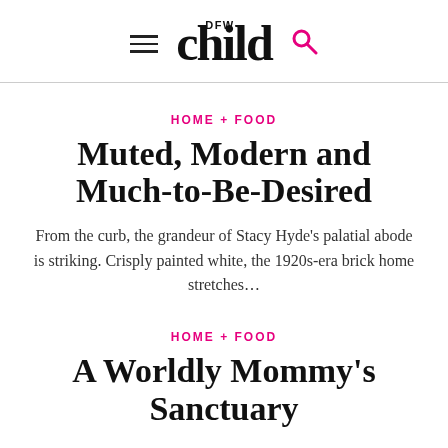DFW Child
HOME + FOOD
Muted, Modern and Much-to-Be-Desired
From the curb, the grandeur of Stacy Hyde's palatial abode is striking. Crisply painted white, the 1920s-era brick home stretches…
HOME + FOOD
A Worldly Mommy's Sanctuary